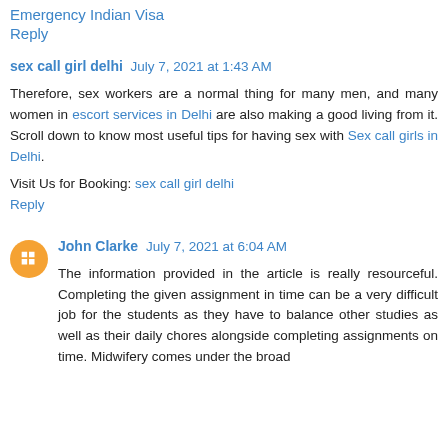Emergency Indian Visa
Reply
sex call girl delhi  July 7, 2021 at 1:43 AM
Therefore, sex workers are a normal thing for many men, and many women in escort services in Delhi are also making a good living from it. Scroll down to know most useful tips for having sex with Sex call girls in Delhi.
Visit Us for Booking: sex call girl delhi
Reply
John Clarke  July 7, 2021 at 6:04 AM
The information provided in the article is really resourceful. Completing the given assignment in time can be a very difficult job for the students as they have to balance other studies as well as their daily chores alongside completing assignments on time. Midwifery comes under the broad topic of nursing and midwifery nursing and during the broad